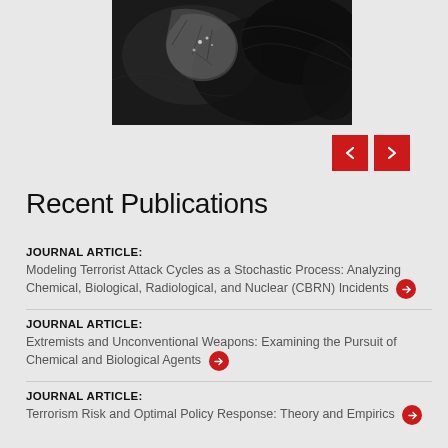[Figure (photo): Black and white aerial/satellite image of terrain, appears to be a cracked or dry landscape]
Recent Publications
JOURNAL ARTICLE:
Modeling Terrorist Attack Cycles as a Stochastic Process: Analyzing Chemical, Biological, Radiological, and Nuclear (CBRN) Incidents
JOURNAL ARTICLE:
Extremists and Unconventional Weapons: Examining the Pursuit of Chemical and Biological Agents
JOURNAL ARTICLE:
Terrorism Risk and Optimal Policy Response: Theory and Empirics